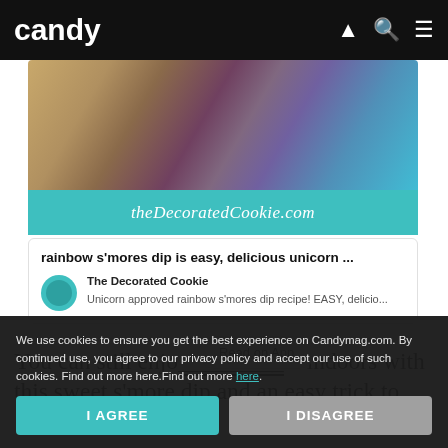candy
[Figure (screenshot): Article image featuring colorful decorated cookies with rainbow glitter and a teal banner reading theDecoratedCookie.com]
rainbow s'mores dip is easy, delicious unicorn ...
The Decorated Cookie
Unicorn approved rainbow s'mores dip recipe! EASY, delicio...
Read on App
You can still enjo__w indoors with this sweet s'more dip and an easy trick to
We use cookies to ensure you get the best experience on Candymag.com. By continued use, you agree to our privacy policy and accept our use of such cookies. Find out more here.Find out more here.
I AGREE
I DISAGREE